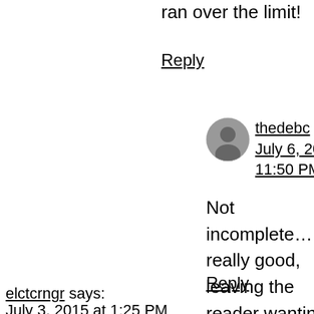ran over the limit!
Reply
thedebc says:
July 6, 2015 at 11:50 PM
Not incomplete….just really good, leaving the reader wanting more.
Reply
elctcrngr says:
July 3, 2015 at 1:25 PM